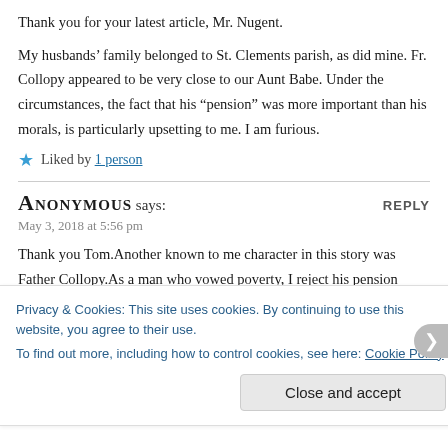Thank you for your latest article, Mr. Nugent.
My husbands’ family belonged to St. Clements parish, as did mine. Fr. Collopy appeared to be very close to our Aunt Babe. Under the circumstances, the fact that his “pension” was more important than his morals, is particularly upsetting to me. I am furious.
★ Liked by 1 person
Anonymous says:
May 3, 2018 at 5:56 pm
Thank you Tom.Another known to me character in this story was Father Collopy.As a man who vowed poverty, I reject his pension theory, for an excuse to let Maskells rein of terror exsist. My abuse could have been a hero. I hope he enjoyed his pension as we struugel with the effects of trauma and
Privacy & Cookies: This site uses cookies. By continuing to use this website, you agree to their use.
To find out more, including how to control cookies, see here: Cookie Policy
Close and accept